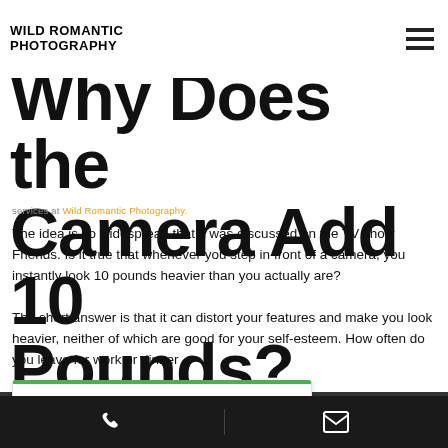WILD ROMANTIC PHOTOGRAPHY
Why Does the Camera Add 10 Pounds?
services at Wild Romantic Photography.
The idea is so widespread that it was discussed on the TV show Friends. Is it true that whenever you step in front of a camera, you instantly look 10 pounds heavier than you actually are?
The short answer is that it can distort your features and make you look heavier, neither of which are good for your self-esteem. How often do you leave for work or dinner thinking you looked great in the mirror, only to be disappointed in a photo taken of you later that day?
[Figure (other): Google Rating widget showing 5.0 stars based on 267 reviews]
Phone icon | Email icon